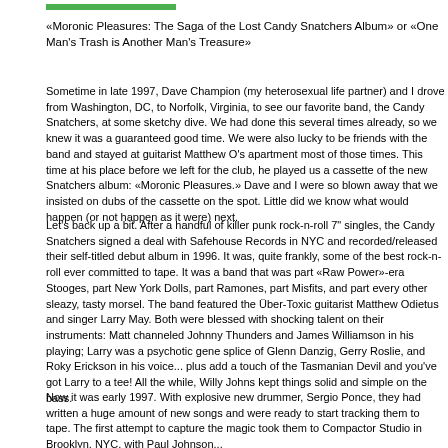«Moronic Pleasures: The Saga of the Lost Candy Snatchers Album» or «One Man's Trash is Another Man's Treasure»
Sometime in late 1997, Dave Champion (my heterosexual life partner) and I drove from Washington, DC, to Norfolk, Virginia, to see our favorite band, the Candy Snatchers, at some sketchy dive. We had done this several times already, so we knew it was a guaranteed good time. We were also lucky to be friends with the band and stayed at guitarist Matthew O's apartment most of those times. This time at his place before we left for the club, he played us a cassette of the new Snatchers album: «Moronic Pleasures.» Dave and I were so blown away that we insisted on dubs of the cassette on the spot. Little did we know what would happen (or not happen as it were) next.
Let's back up a bit. After a handful of killer punk rock-n-roll 7" singles, the Candy Snatchers signed a deal with Safehouse Records in NYC and recorded/released their self-titled debut album in 1996. It was, quite frankly, some of the best rock-n-roll ever committed to tape. It was a band that was part «Raw Power»-era Stooges, part New York Dolls, part Ramones, part Misfits, and part every other sleazy, tasty morsel. The band featured the Über-Toxic guitar/vocal guitarist Matthew Odietus and singer Larry May. Both were blessed with shocking talent on their instruments: Matt channeled Johnny Thunders and James Williamson in his playing; Larry was a psychotic gene splice of Glenn Danzig, Gerry Roslie, and Roky Erickson in his voice... plus add a touch of the Tasmanian Devil and you've got Larry to a tee! All the while, Willy Johns kept things solid and simple on the bass.
Now it was early 1997. With explosive new drummer, Sergio Ponce, they had written a huge amount of new songs and were ready to start tracking them to tape. The first attempt to capture the magic took them to Compactor Studio in Brooklyn, NYC, with Paul Johnson...